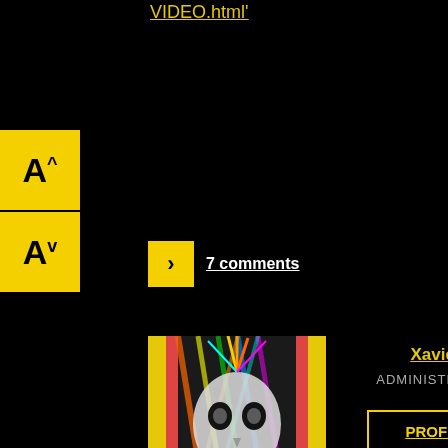VIDEO.html'
[Figure (other): Yellow font-size toggle widget with up (A^) and down (A^) arrows]
> 7 comments
[Figure (photo): Colorful psychedelic skull artwork photo]
Xavier
ADMINISTRATOR
PROFILE
ALSO ON GHOST THEORY
rs ago • 5 comments
A Flying Horse
5 ye
Stranc